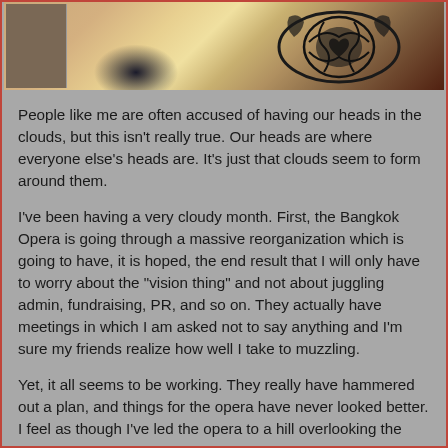[Figure (photo): Partial photo at top of page showing a person with decorative tattoo or face paint design, cropped at the top]
People like me are often accused of having our heads in the clouds, but this isn't really true. Our heads are where everyone else's heads are. It's just that clouds seem to form around them.
I've been having a very cloudy month. First, the Bangkok Opera is going through a massive reorganization which is going to have, it is hoped, the end result that I will only have to worry about the "vision thing" and not about juggling admin, fundraising, PR, and so on. They actually have meetings in which I am asked not to say anything and I'm sure my friends realize how well I take to muzzling.
Yet, it all seems to be working. They really have hammered out a plan, and things for the opera have never looked better. I feel as though I've led the opera to a hill overlooking the promised land, and yet….
We are still so far from utopia. Recently, a very powerful crop